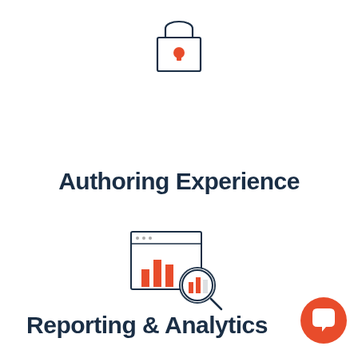[Figure (illustration): Lock/padlock icon with a red keyhole, drawn in a minimalist line style with dark navy outline]
Authoring Experience
[Figure (illustration): Analytics dashboard icon showing a bar chart inside a browser window with a magnifying glass highlighting the bars, in red and navy line style]
Reporting & Analytics
[Figure (illustration): Orange circular chat bubble button in bottom right corner]